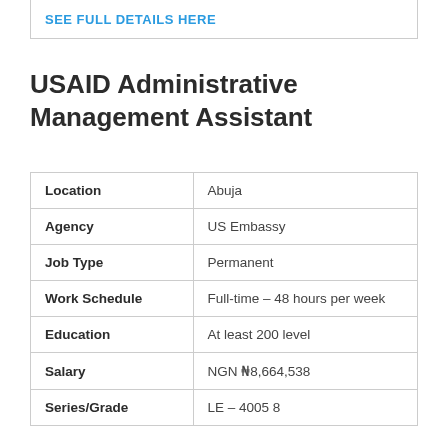SEE FULL DETAILS HERE
USAID Administrative Management Assistant
|  |  |
| --- | --- |
| Location | Abuja |
| Agency | US Embassy |
| Job Type | Permanent |
| Work Schedule | Full-time – 48 hours per week |
| Education | At least 200 level |
| Salary | NGN ₦8,664,538 |
| Series/Grade | LE – 4005 8 |